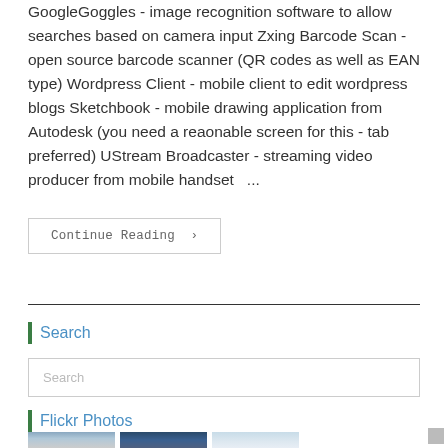GoogleGoggles - image recognition software to allow searches based on camera input Zxing Barcode Scan - open source barcode scanner (QR codes as well as EAN type) Wordpress Client - mobile client to edit wordpress blogs Sketchbook - mobile drawing application from Autodesk (you need a reaonable screen for this - tab preferred) UStream Broadcaster - streaming video producer from mobile handset  ...
Continue Reading ›
Search
Search
Flickr Photos
[Figure (photo): Four thumbnail photos of sky/clouds scenes]